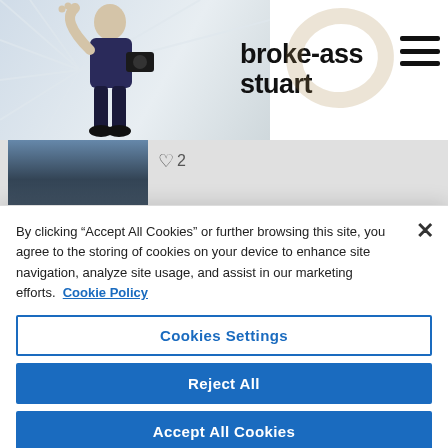broke-ass stuart
[Figure (screenshot): Article thumbnail showing legs/feet, with heart icon and like count of 2]
MY EXPERIENCE WITH COVID-19
♡ 2
By clicking “Accept All Cookies” or further browsing this site, you agree to the storing of cookies on your device to enhance site navigation, analyze site usage, and assist in our marketing efforts. Cookie Policy
Cookies Settings
Reject All
Accept All Cookies